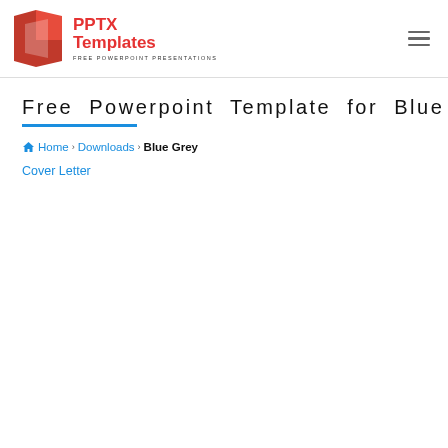PPTX Templates FREE POWERPOINT PRESENTATIONS
Free Powerpoint Template for Blue Grey
Home › Downloads › Blue Grey
Cover Letter